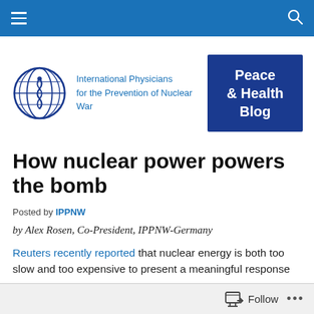International Physicians for the Prevention of Nuclear War — Peace & Health Blog
[Figure (logo): IPPNW globe logo with snake/medical symbol in dark blue]
How nuclear power powers the bomb
Posted by IPPNW
by Alex Rosen, Co-President, IPPNW-Germany
Reuters recently reported that nuclear energy is both too slow and too expensive to present a meaningful response
Follow ...